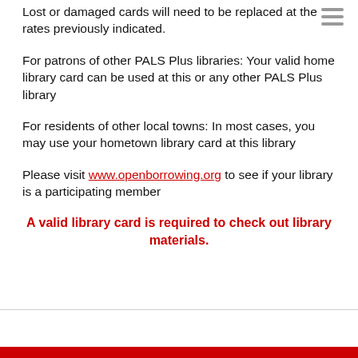Lost or damaged cards will need to be replaced at the rates previously indicated.
For patrons of other PALS Plus libraries: Your valid home library card can be used at this or any other PALS Plus library
For residents of other local towns: In most cases, you may use your hometown library card at this library
Please visit www.openborrowing.org to see if your library is a participating member
A valid library card is required to check out library materials.